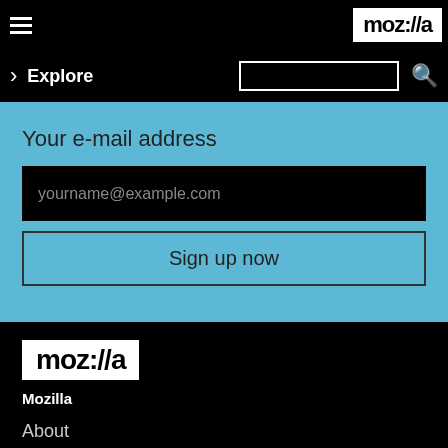moz://a
Explore
Your e-mail address
yourname@example.com
Sign up now
[Figure (logo): Mozilla logo: white rectangle with black text moz://a]
Mozilla
About
Contact Us